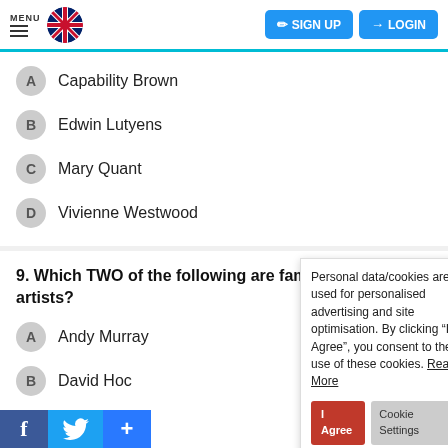MENU | SIGN UP | LOGIN
A Capability Brown
B Edwin Lutyens
C Mary Quant
D Vivienne Westwood
9. Which TWO of the following are famous British artists?
A Andy Murray
B David Hoc[kney]
C Henry Moo[re]
D Sir Edward [Elgar]
Personal data/cookies are used for personalised advertising and site optimisation. By clicking “I Agree”, you consent to the use of these cookies. Read More
10. In the state[ment]
A [Tradi]tional food in Wales is Ulster fry.